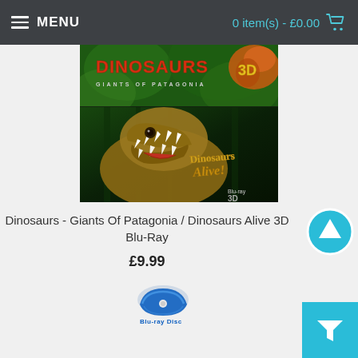MENU | 0 item(s) - £0.00
[Figure (photo): Product image showing two Blu-ray movie covers combined: 'Dinosaurs 3D: Giants of Patagonia' on top with a jungle/foliage background and logo text, and 'Dinosaurs Alive! Blu-ray 3D' on bottom featuring a large T-Rex with open jaws in a forest setting.]
Dinosaurs - Giants Of Patagonia / Dinosaurs Alive 3D Blu-Ray
£9.99
[Figure (logo): Blu-ray Disc logo in blue]